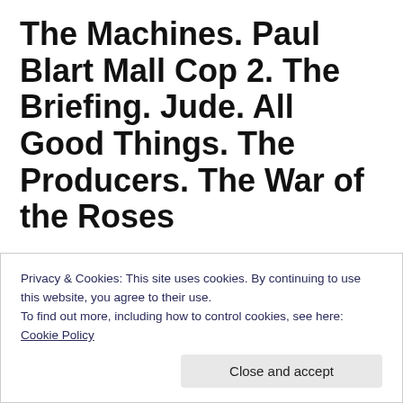The Machines. Paul Blart Mall Cop 2. The Briefing. Jude. All Good Things. The Producers. The War of the Roses
Sneakers
I've only owned orange cars and that orange Volkswagen is hella pretty. According to IMDB, it's the exact same car used in So I Married an Axe Murderer. The fact that only 3 of Sidney Poitier's films are available on my services is a
Privacy & Cookies: This site uses cookies. By continuing to use this website, you agree to their use.
To find out more, including how to control cookies, see here: Cookie Policy

Close and accept